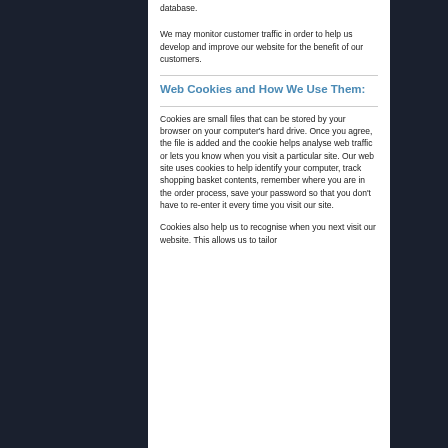database.
We may monitor customer traffic in order to help us develop and improve our website for the benefit of our customers.
Web Cookies and How We Use Them:
Cookies are small files that can be stored by your browser on your computer’s hard drive. Once you agree, the file is added and the cookie helps analyse web traffic or lets you know when you visit a particular site. Our web site uses cookies to help identify your computer, track shopping basket contents, remember where you are in the order process, save your password so that you don’t have to re-enter it every time you visit our site.
Cookies also help us to recognise when you next visit our website. This allows us to tailor